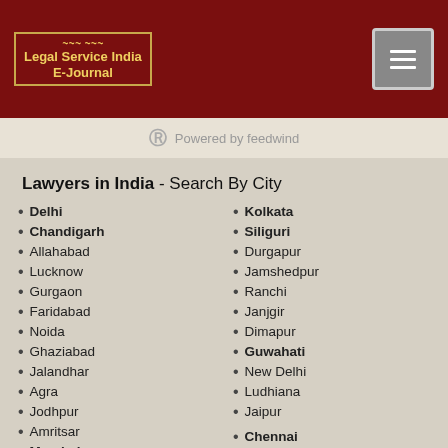Legal Service India E-Journal
Powered by feedwind
Lawyers in India - Search By City
Delhi
Chandigarh
Allahabad
Lucknow
Gurgaon
Faridabad
Noida
Ghaziabad
Jalandhar
Agra
Jodhpur
Amritsar
Mumbai
Kolkata
Siliguri
Durgapur
Jamshedpur
Ranchi
Janjgir
Dimapur
Guwahati
New Delhi
Ludhiana
Jaipur
Chennai